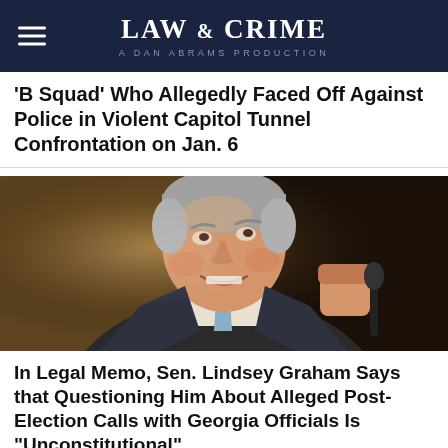LAW & CRIME — A DAN ABRAMS PRODUCTION
'B Squad' Who Allegedly Faced Off Against Police in Violent Capitol Tunnel Confrontation on Jan. 6
[Figure (photo): Photo of Senator Lindsey Graham looking upward with mouth open and fist raised, wearing a dark suit and light blue tie, speaking at an event]
In Legal Memo, Sen. Lindsey Graham Says that Questioning Him About Alleged Post-Election Calls with Georgia Officials Is "Unconstitutional"